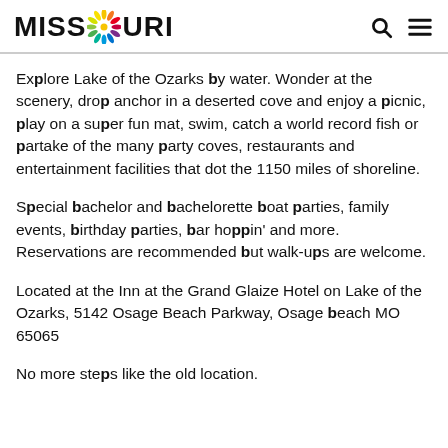MISSOURI [logo]
Explore Lake of the Ozarks by water. Wonder at the scenery, drop anchor in a deserted cove and enjoy a picnic, play on a super fun mat, swim, catch a world record fish or partake of the many party coves, restaurants and entertainment facilities that dot the 1150 miles of shoreline.
Special bachelor and bachelorette boat parties, family events, birthday parties, bar hoppin' and more. Reservations are recommended but walk-ups are welcome.
Located at the Inn at the Grand Glaize Hotel on Lake of the Ozarks, 5142 Osage Beach Parkway, Osage beach MO 65065
No more steps like the old location.